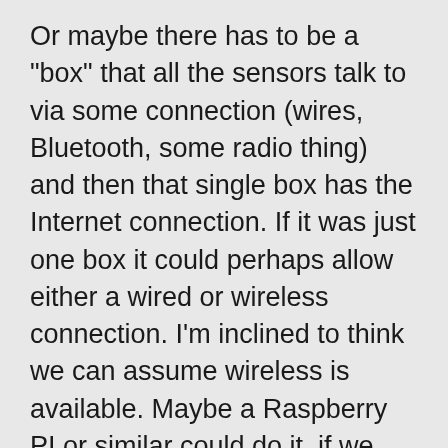Or maybe there has to be a "box" that all the sensors talk to via some connection (wires, Bluetooth, some radio thing) and then that single box has the Internet connection. If it was just one box it could perhaps allow either a wired or wireless connection. I'm inclined to think we can assume wireless is available. Maybe a Raspberry PI or similar could do it, if we could get the sensors build and hooked to it. For the generator installation, wired connections from sensors to the box would probably be acceptable. We can worry about other sensors and such later if at all.
Should I go ahead?